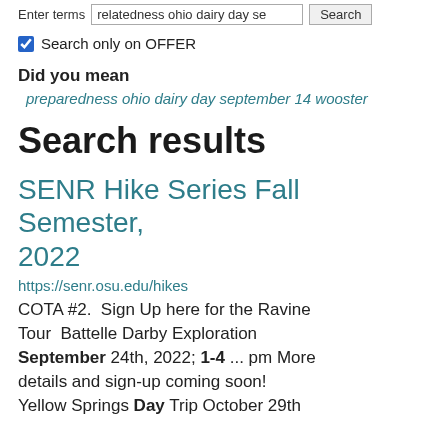Enter terms  relatedness ohio dairy day se  Search
Search only on OFFER
Did you mean
preparedness ohio dairy day september 14 wooster
Search results
SENR Hike Series Fall Semester, 2022
https://senr.osu.edu/hikes
COTA #2.  Sign Up here for the Ravine Tour  Battelle Darby Exploration September 24th, 2022; 1-4 ... pm More details and sign-up coming soon!
Yellow Springs Day Trip October 29th